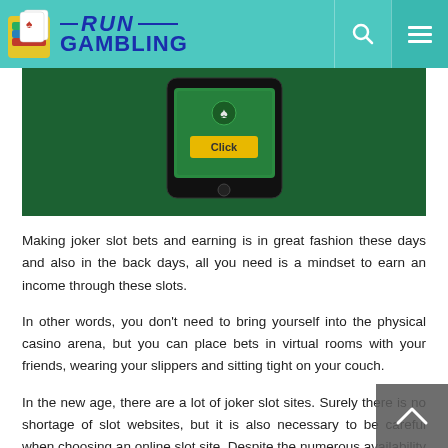RUN GAMBLING
[Figure (photo): A smartphone on a green felt surface showing a mobile gambling/slot app with a yellow 'Click' button on screen]
Making joker slot bets and earning is in great fashion these days and also in the back days, all you need is a mindset to earn an income through these slots.
In other words, you don't need to bring yourself into the physical casino arena, but you can place bets in virtual rooms with your friends, wearing your slippers and sitting tight on your couch.
In the new age, there are a lot of joker slot sites. Surely there is no shortage of slot websites, but it is also necessary to be careful when choosing an online slot site. Despite the numerous availability of online slot sites, many slot players avoid using the online platform as it has some degree of a bad reputation. Signing up on sites like Joker123 slot can be a safe choice because it has been around for many years and is also the first choice of many users.